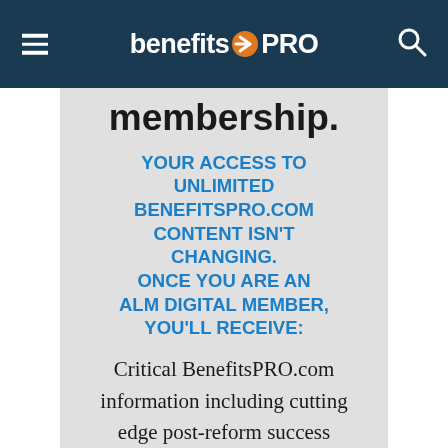benefitsPRO
membership.
YOUR ACCESS TO UNLIMITED BENEFITSPRO.COM CONTENT ISN'T CHANGING. ONCE YOU ARE AN ALM DIGITAL MEMBER, YOU'LL RECEIVE:
Critical BenefitsPRO.com information including cutting edge post-reform success strategies, access to